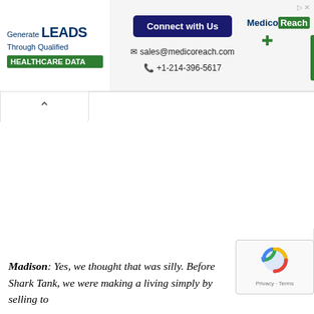[Figure (screenshot): Advertisement banner for MedicoReach: 'Generate LEADS Through Qualified HEALTHCARE DATA', with 'Connect with Us' button, sales@medicoreach.com, +1-214-396-5617, and MedicoReach logo]
^
Madison: Yes, we thought that was silly. Before Shark Tank, we were making a living simply by selling to